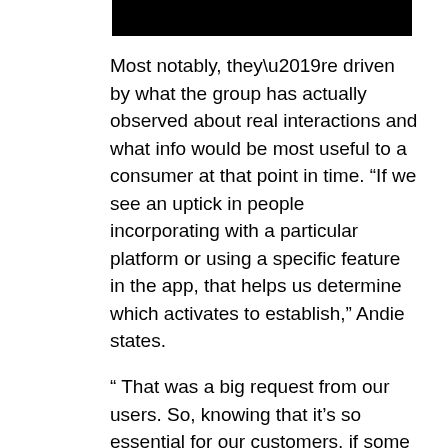[Figure (other): Black redaction bar at the top of the page]
Most notably, they’re driven by what the group has actually observed about real interactions and what info would be most useful to a consumer at that point in time. “If we see an uptick in people incorporating with a particular platform or using a specific feature in the app, that helps us determine which activates to establish,” Andie states.
“ That was a big request from our users. So, knowing that it’s so essential for our customers, if some people do not have it turned on yet, that drives our method for how we message them.” While product engagement emails are based around, well,